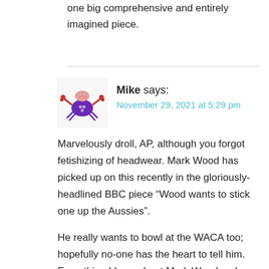one big comprehensive and entirely imagined piece.
[Figure (illustration): Avatar illustration of a purple crab-like creature with a pink brain on top and red claws, used as a commenter avatar for 'Mike'.]
Mike says:
November 29, 2021 at 5:29 pm
Marvelously droll, AP, although you forgot fetishizing of headwear. Mark Wood has picked up on this recently in the gloriously-headlined BBC piece “Wood wants to stick one up the Aussies”.
He really wants to bowl at the WACA too; hopefully no-one has the heart to tell him. Everything I hear about Mark Wood makes me